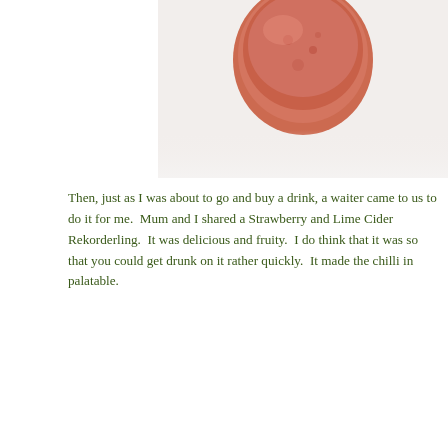[Figure (photo): Close-up photo of a reddish-orange drink or food item, partially visible at the top of the page]
Then, just as I was about to go and buy a drink, a waiter came to us to do it for me.  Mum and I shared a Strawberry and Lime Cider Rekorderling.  It was delicious and fruity.  I do think that it was so that you could get drunk on it rather quickly.  It made the chilli in palatable.
[Figure (photo): Outdoor festival scene with palm trees, a tall modern building in the background, colorful market tents/stalls, and crowd of people]